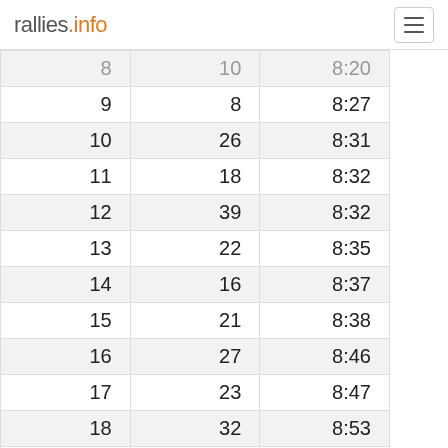rallies.info
| 9 | 8 | 8:27 |
| 10 | 26 | 8:31 |
| 11 | 18 | 8:32 |
| 12 | 39 | 8:32 |
| 13 | 22 | 8:35 |
| 14 | 16 | 8:37 |
| 15 | 21 | 8:38 |
| 16 | 27 | 8:46 |
| 17 | 23 | 8:47 |
| 18 | 32 | 8:53 |
| 19 | 35 | 8:54 |
| 20 | 29 | 8:55 |
| 21 | 25 | 8:56 |
| 22 | 37 | 8:58 |